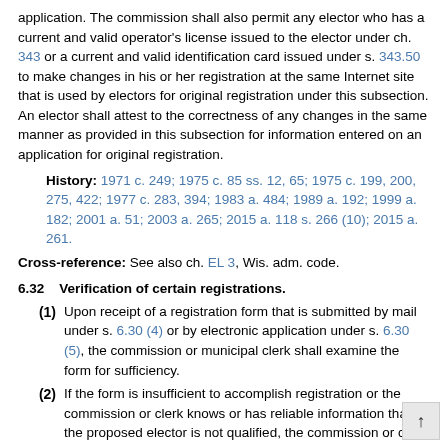application. The commission shall also permit any elector who has a current and valid operator's license issued to the elector under ch. 343 or a current and valid identification card issued under s. 343.50 to make changes in his or her registration at the same Internet site that is used by electors for original registration under this subsection. An elector shall attest to the correctness of any changes in the same manner as provided in this subsection for information entered on an application for original registration.
History: 1971 c. 249; 1975 c. 85 ss. 12, 65; 1975 c. 199, 200, 275, 422; 1977 c. 283, 394; 1983 a. 484; 1989 a. 192; 1999 a. 182; 2001 a. 51; 2003 a. 265; 2015 a. 118 s. 266 (10); 2015 a. 261.
Cross-reference: See also ch. EL 3, Wis. adm. code.
6.32   Verification of certain registrations.
(1) Upon receipt of a registration form that is submitted by mail under s. 6.30 (4) or by electronic application under s. 6.30 (5), the commission or municipal clerk shall examine the form for sufficiency.
(2) If the form is insufficient to accomplish registration or the commission or clerk knows or has reliable information that the proposed elector is not qualified, the commission or clerk shall notify the proposed elector within 5 days, if possible, and request that the elector appear at the clerk's office or another registration location to complete a proper registration or substantiate the information presented.